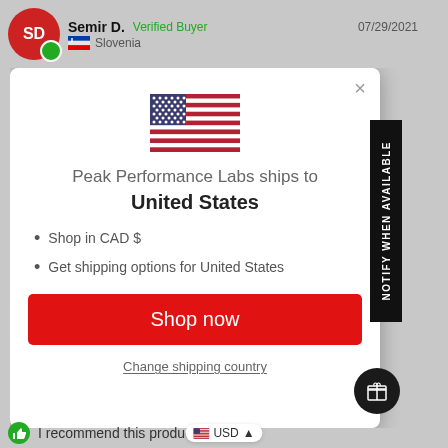Semir D.  Verified Buyer  07/29/2021  Slovenia
[Figure (screenshot): Modal dialog showing a US flag, text 'Peak Performance Labs ships to United States', bullet points 'Shop in CAD $' and 'Get shipping options for United States', a red 'Shop now' button, and a 'Change shipping country' link. A black vertical 'NOTIFY WHEN AVAILABLE' sidebar is on the right. A dark gift icon circle is in the bottom right.]
Shop in CAD $
Get shipping options for United States
Shop now
Change shipping country
NOTIFY WHEN AVAILABLE
USD
I recommend this product